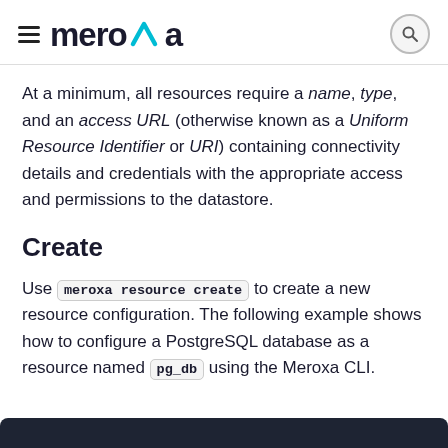meroxa
At a minimum, all resources require a name, type, and an access URL (otherwise known as a Uniform Resource Identifier or URI) containing connectivity details and credentials with the appropriate access and permissions to the datastore.
Create
Use meroxa resource create to create a new resource configuration. The following example shows how to configure a PostgreSQL database as a resource named pg_db using the Meroxa CLI.
[Figure (screenshot): Dark code block at bottom of page]